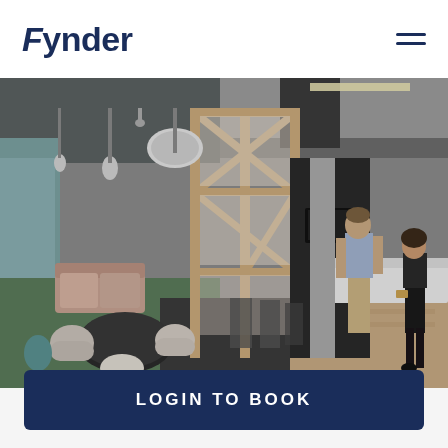Fynder
[Figure (photo): Interior of a modern co-working office space with wooden partition frames, pendant lights, round tables with chairs, a standing man in blue shirt, and a woman sitting at a counter. The space features green carpet, light wood floors, and soft ambient lighting.]
LOGIN TO BOOK